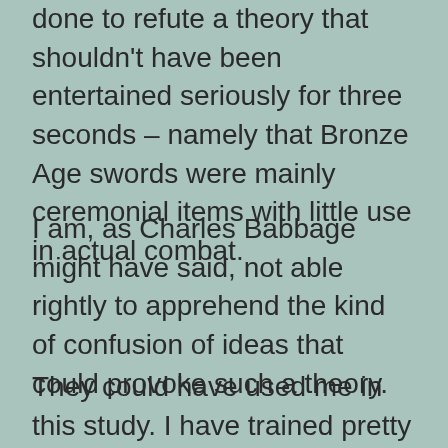done to refute a theory that shouldn't have been entertained seriously for three seconds – namely that Bronze Age swords were mainly ceremonial items with little use in actual combat.

I am, as Charles Babbage might have said, not able rightly to apprehend the kind of confusion of ideas that could provoke such a theory.

They could have used me in this study. I have trained pretty extensively with pre-gunpowder contact weapons, especially swords and daggers and polearms. I'm not sure I can claim to be an expert swordsman, but people who